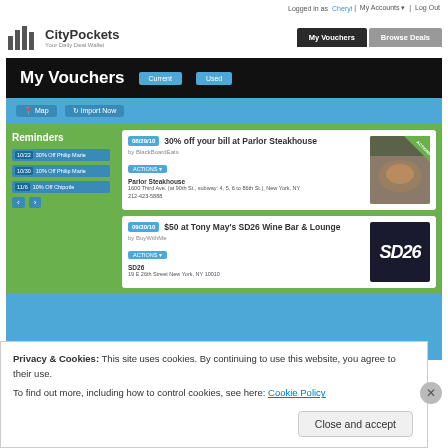Logged in as Cheryl | My Accounts | Log Out
[Figure (screenshot): CityPockets website screenshot showing My Vouchers page with deal listings for Parlor Steakhouse and Tony May's SD26 Wine Bar & Lounge]
Privacy & Cookies: This site uses cookies. By continuing to use this website, you agree to their use.
To find out more, including how to control cookies, see here: Cookie Policy
Close and accept